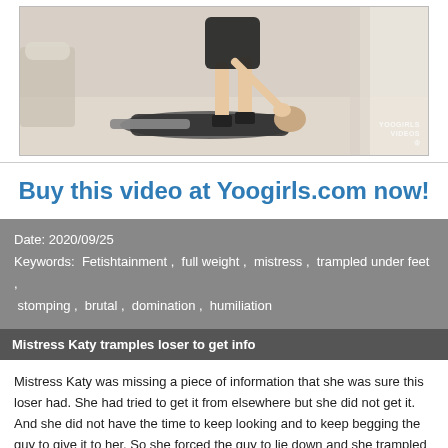[Figure (photo): Photo of a woman standing over a man lying on the floor in an elegant room with white furniture. Watermark reads 'Yoogirls Videos' with a lion logo.]
Buy this video at Yoogirls.com now!
Date: 2020/09/25
Keywords: Fetishtainment , full weight , mistress , trampled under feet , stomping , brutal , domination , humiliation
Mistress Katy tramples loser to get info
Mistress Katy was missing a piece of information that she was sure this loser had. She had tried to get it from elsewhere but she did not get it. And she did not have the time to keep looking and to keep begging the guy to give it to her. So she forced the guy to lie down and she trampled him painfully and cruelly using her boots. He gave her the info.